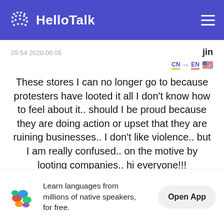HelloTalk
05:54 2020.06.05
jin
CN → EN 🇺🇸
These stores I can no longer go to because protesters have looted it all I don't know how to feel about it.. should I be proud because they are doing action or upset that they are ruining businesses.. I don't like violence.. but I am really confused.. on the motive by looting companies.. hi everyone!!!
Learn languages from millions of native speakers, for free. Open App